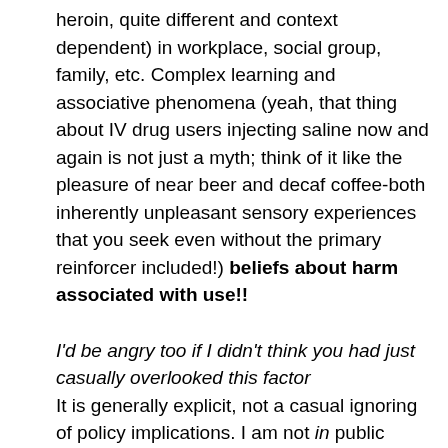heroin, quite different and context dependent) in workplace, social group, family, etc. Complex learning and associative phenomena (yeah, that thing about IV drug users injecting saline now and again is not just a myth; think of it like the pleasure of near beer and decaf coffee-both inherently unpleasant sensory experiences that you seek even without the primary reinforcer included!) beliefs about harm associated with use!!
I'd be angry too if I didn't think you had just casually overlooked this factor
It is generally explicit, not a casual ignoring of policy implications. I am not in public policy. My opinions there are as amateurish as anyone else's and I think some conspiracy theorists